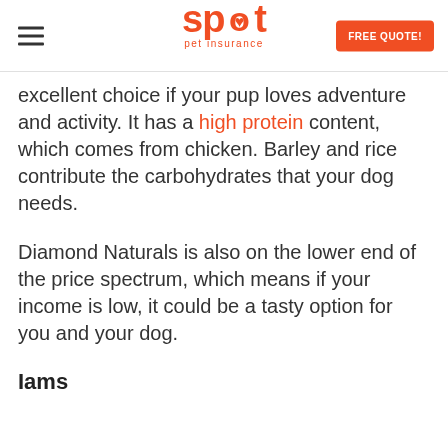Spot Pet Insurance — FREE QUOTE!
excellent choice if your pup loves adventure and activity. It has a high protein content, which comes from chicken. Barley and rice contribute the carbohydrates that your dog needs.
Diamond Naturals is also on the lower end of the price spectrum, which means if your income is low, it could be a tasty option for you and your dog.
Iams